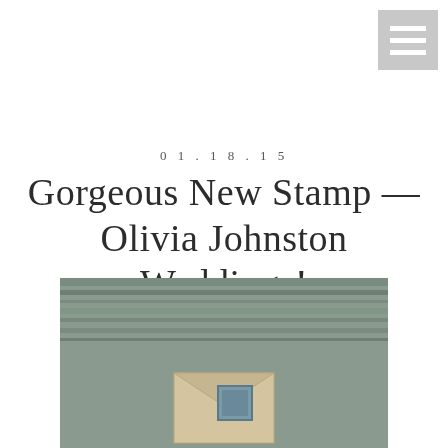[Figure (other): Navigation menu icon — grey square with three white horizontal lines]
01.18.15
Gorgeous New Stamp — Olivia Johnston Weddings!
Posted in Product Photography, Weddings
[Figure (photo): Photograph showing a wooden surface with an envelope and a small blue stamp visible at the bottom of the frame]